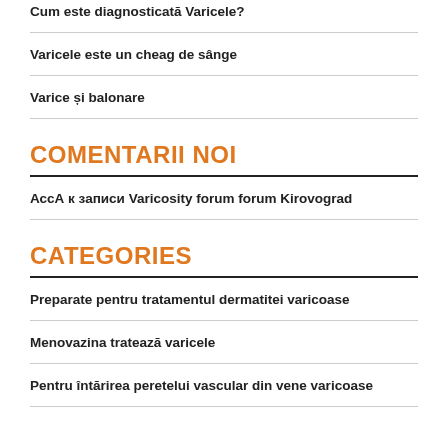Cum este diagnosticată Varicele?
Varicele este un cheag de sânge
Varice și balonare
COMENTARII NOI
АссА к записи Varicosity forum forum Kirovograd
CATEGORIES
Preparate pentru tratamentul dermatitei varicoase
Menovazina tratează varicele
Pentru întărirea peretelui vascular din vene varicoase